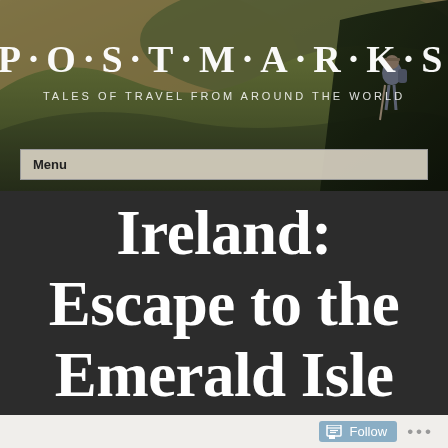[Figure (photo): Header photo of a travel blog showing hilly landscape with a person hiking, overlaid with blog title text]
P·O·S·T·M·A·R·K·S
TALES OF TRAVEL FROM AROUND THE WORLD
Menu
Ireland: Escape to the Emerald Isle
Follow ...